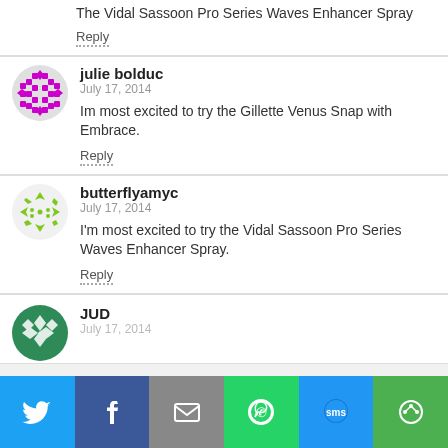The Vidal Sassoon Pro Series Waves Enhancer Spray
Reply
julie bolduc
July 17, 2014
Im most excited to try the Gillette Venus Snap with Embrace.
Reply
butterflyamyc
July 17, 2014
I'm most excited to try the Vidal Sassoon Pro Series Waves Enhancer Spray.
Reply
JUD
July 17, 2014
[Figure (infographic): Social share bar with icons for Twitter, Facebook, Email, WhatsApp, SMS, and a share button]